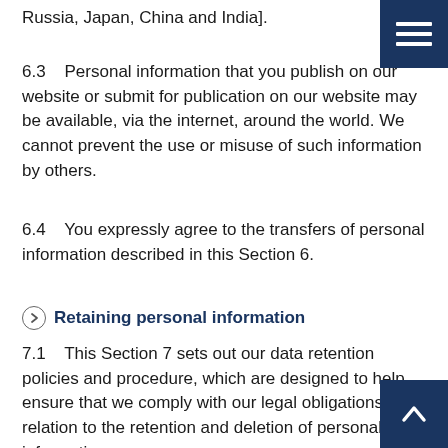Russia, Japan, China and India].
6.3    Personal information that you publish on our website or submit for publication on our website may be available, via the internet, around the world. We cannot prevent the use or misuse of such information by others.
6.4    You expressly agree to the transfers of personal information described in this Section 6.
Retaining personal information
7.1    This Section 7 sets out our data retention policies and procedure, which are designed to help ensure that we comply with our legal obligations in relation to the retention and deletion of personal information.